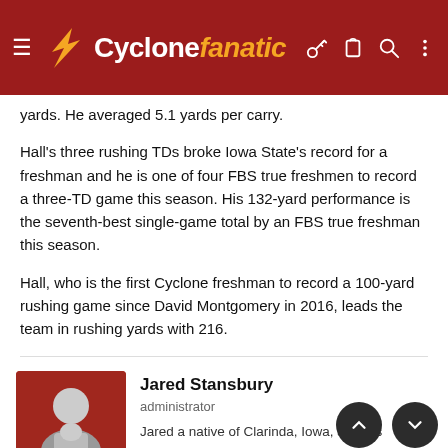Cyclone fanatic
yards. He averaged 5.1 yards per carry.
Hall's three rushing TDs broke Iowa State's record for a freshman and he is one of four FBS true freshmen to record a three-TD game this season. His 132-yard performance is the seventh-best single-game total by an FBS true freshman this season.
Hall, who is the first Cyclone freshman to record a 100-yard rushing game since David Montgomery in 2016, leads the team in rushing yards with 216.
Jared Stansbury
administrator
Jared a native of Clarinda, Iowa, sta... s Cyclone Fanatic intern in August 2013, primarily